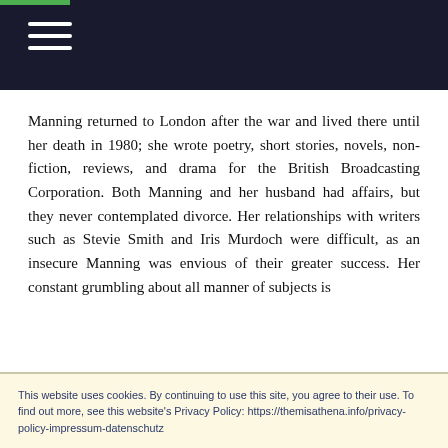Navigation header bar with hamburger menu
Manning returned to London after the war and lived there until her death in 1980; she wrote poetry, short stories, novels, non-fiction, reviews, and drama for the British Broadcasting Corporation. Both Manning and her husband had affairs, but they never contemplated divorce. Her relationships with writers such as Stevie Smith and Iris Murdoch were difficult, as an insecure Manning was envious of their greater success. Her constant grumbling about all manner of subjects is
This website uses cookies. By continuing to use this site, you agree to their use. To find out more, see this website's Privacy Policy: https://themisathena.info/privacy-policy-impressum-datenschutz

Diese Website verwendet Cookies. Durch die Fortsetzung Ihres Besuchs stimmen Sie der Verwendung zu. Weitere Informationen finden Sie auf der Seite Impressum und Datenschutz: https://themisathena.info/privacy-policy-impressum-datenschutz Privacy & Cookie Policy
Close and accept
portrayal of other cultures. Her works tend to minimise issues of